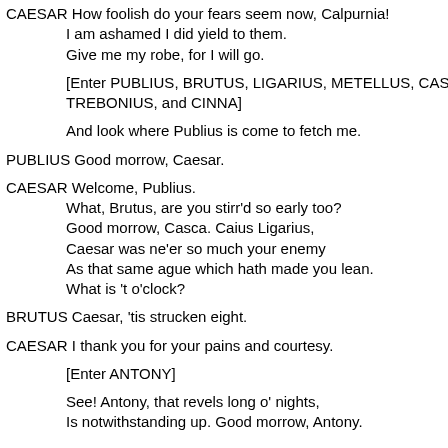CAESAR How foolish do your fears seem now, Calpurnia!
 I am ashamed I did yield to them.
 Give me my robe, for I will go.
[Enter PUBLIUS, BRUTUS, LIGARIUS, METELLUS, CASCA, TREBONIUS, and CINNA]
And look where Publius is come to fetch me.
PUBLIUS Good morrow, Caesar.
CAESAR Welcome, Publius.
 What, Brutus, are you stirr'd so early too?
 Good morrow, Casca. Caius Ligarius,
 Caesar was ne'er so much your enemy
 As that same ague which hath made you lean.
 What is 't o'clock?
BRUTUS Caesar, 'tis strucken eight.
CAESAR I thank you for your pains and courtesy.
[Enter ANTONY]
See! Antony, that revels long o' nights,
 Is notwithstanding up. Good morrow, Antony.